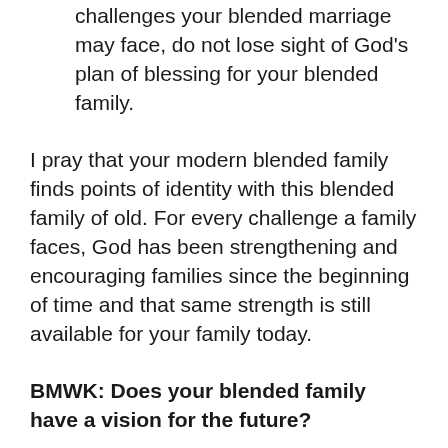challenges your blended marriage may face, do not lose sight of God's plan of blessing for your blended family.
I pray that your modern blended family finds points of identity with this blended family of old. For every challenge a family faces, God has been strengthening and encouraging families since the beginning of time and that same strength is still available for your family today.
BMWK: Does your blended family have a vision for the future?